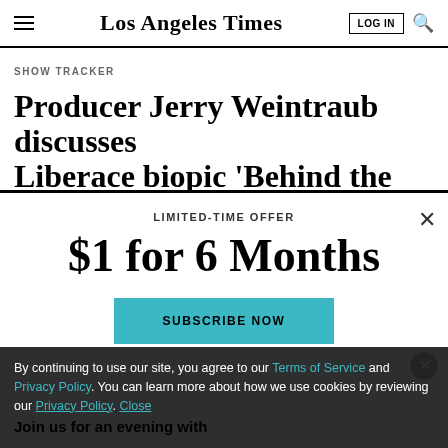Los Angeles Times
SHOW TRACKER
Producer Jerry Weintraub discusses Liberace biopic 'Behind the
LIMITED-TIME OFFER
$1 for 6 Months
SUBSCRIBE NOW
By continuing to use our site, you agree to our Terms of Service and Privacy Policy. You can learn more about how we use cookies by reviewing our Privacy Policy. Close
Join us for an evening with